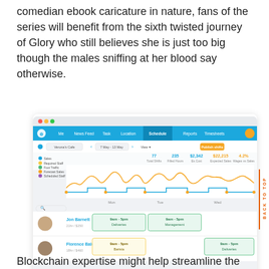comedian ebook caricature in nature, fans of the series will benefit from the sixth twisted journey of Glory who still believes she is just too big though the males sniffing at her blood say otherwise.
[Figure (screenshot): Screenshot of a workforce scheduling web application showing a navigation bar with tabs (Me, News Feed, Task, Location, Schedule, Reports, Timesheets), a schedule view for Verona's Cafe from 7 May to 13 May, a line/area chart showing Sales, Required Staff, Foot Traffic, Forecast Sales, and Scheduled Staff over the week, and a staff schedule grid showing Jon Barnett (21hr/$250) and Florence Baldwin (18hr/$460) with shifts on Monday, Tuesday, and Wednesday including Deliveries, Management, and Barista roles.]
Blockchain expertise might help streamline the